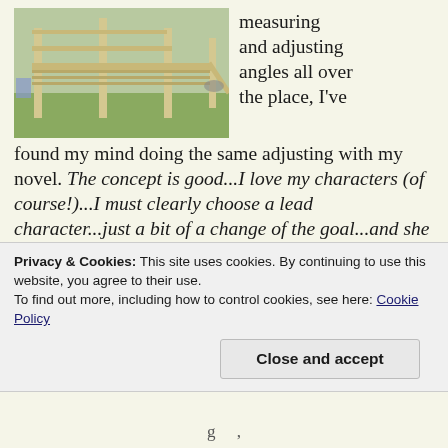[Figure (photo): Photo of a wooden structure under construction in a garden/backyard setting, showing framing with posts and railings, grass and chairs visible in background]
measuring and adjusting angles all over the place, I've found my mind doing the same adjusting with my novel. The concept is good...I love my characters (of course!)...I must clearly choose a lead character...just a bit of a change of the goal...and she says this, and then does that...
I am a writer, and a writer writes.  This apparently
Privacy & Cookies: This site uses cookies. By continuing to use this website, you agree to their use.
To find out more, including how to control cookies, see here: Cookie Policy
Close and accept